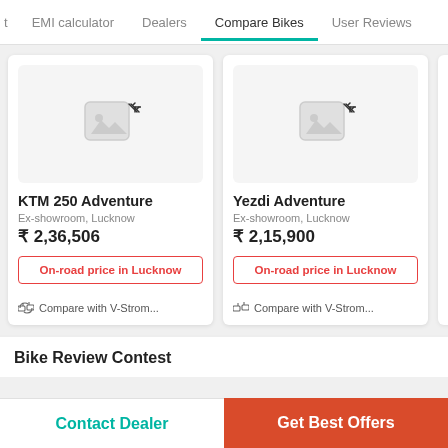EMI calculator | Dealers | Compare Bikes | User Reviews
[Figure (screenshot): KTM 250 Adventure bike card with loading placeholder image, Ex-showroom Lucknow price ₹2,36,506, On-road price in Lucknow button, Compare with V-Strom... link]
[Figure (screenshot): Yezdi Adventure bike card with loading placeholder image, Ex-showroom Lucknow price ₹2,15,900, On-road price in Lucknow button, Compare with V-Strom... link]
Bike Review Contest
Contact Dealer | Get Best Offers